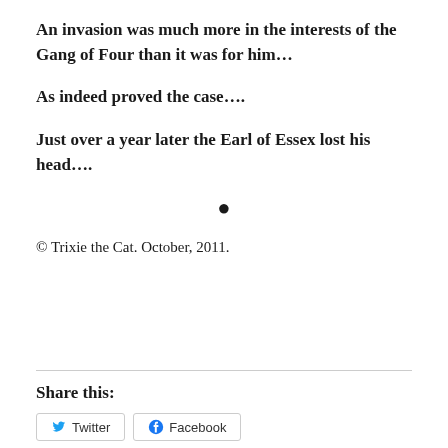An invasion was much more in the interests of the Gang of Four than it was for him…
As indeed proved the case….
Just over a year later the Earl of Essex lost his head….
•
© Trixie the Cat. October, 2011.
Share this:
Twitter  Facebook